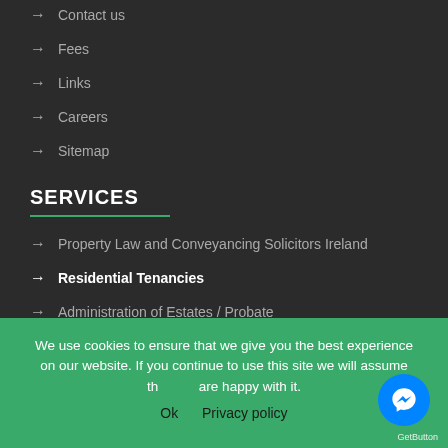→ Contact us
→ Fees
→ Links
→ Careers
→ Sitemap
SERVICES
→ Property Law and Conveyancing Solicitors Ireland
→ Residential Tenancies
→ Administration of Estates / Probate
→ Debt Solutions
We use cookies to ensure that we give you the best experience on our website. If you continue to use this site we will assume that you are happy with it.
Ok   Privacy policy